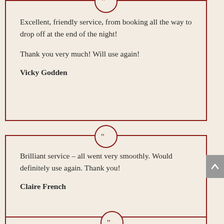Excellent, friendly service, from booking all the way to drop off at the end of the night!

Thank you very much! Will use again!

Vicky Godden
Brilliant service – all went very smoothly.  Would definitely use again.  Thank you!

Claire French